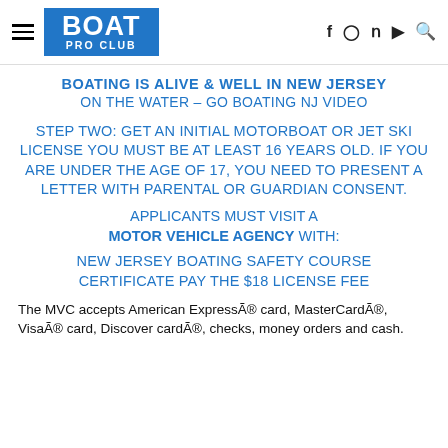BOAT PRO CLUB
BOATING IS ALIVE & WELL IN NEW JERSEY ON THE WATER – GO BOATING NJ VIDEO
STEP TWO: GET AN INITIAL MOTORBOAT OR JET SKI LICENSE YOU MUST BE AT LEAST 16 YEARS OLD. IF YOU ARE UNDER THE AGE OF 17, YOU NEED TO PRESENT A LETTER WITH PARENTAL OR GUARDIAN CONSENT.
APPLICANTS MUST VISIT A MOTOR VEHICLE AGENCY WITH:
NEW JERSEY BOATING SAFETY COURSE CERTIFICATE PAY THE $18 LICENSE FEE
The MVC accepts American ExpressÃ® card, MasterCardÃ®, VisaÃ® card, Discover cardÃ®, checks, money orders and cash.